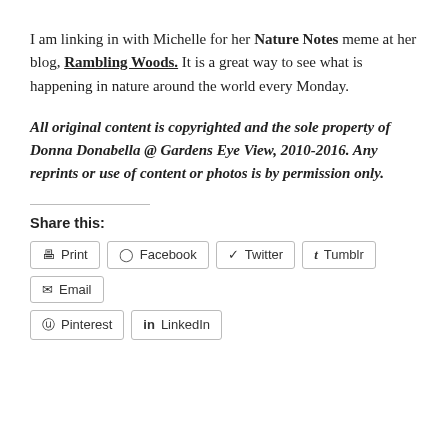I am linking in with Michelle for her Nature Notes meme at her blog, Rambling Woods.  It is a great way to see what is happening in nature around the world every Monday.
All original content is copyrighted and the sole property of Donna Donabella @ Gardens Eye View, 2010-2016.  Any reprints or use of content or photos is by permission only.
Share this:
Print | Facebook | Twitter | Tumblr | Email | Pinterest | LinkedIn